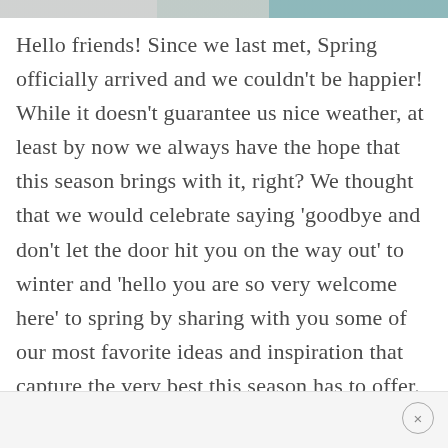[Figure (photo): Partial top strip showing cropped images, appears to be three photo thumbnails in a row — grey, muted teal/green, and blue-green tones.]
Hello friends! Since we last met, Spring officially arrived and we couldn't be happier! While it doesn't guarantee us nice weather, at least by now we always have the hope that this season brings with it, right? We thought that we would celebrate saying 'goodbye and don't let the door hit you on the way out' to winter and 'hello you are so very welcome here' to spring by sharing with you some of our most favorite ideas and inspiration that capture the very best this season has to offer.
×